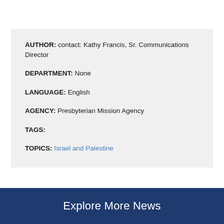AUTHOR: contact: Kathy Francis, Sr. Communications Director
DEPARTMENT: None
LANGUAGE: English
AGENCY: Presbyterian Mission Agency
TAGS:
TOPICS: Israel and Palestine
Explore More News